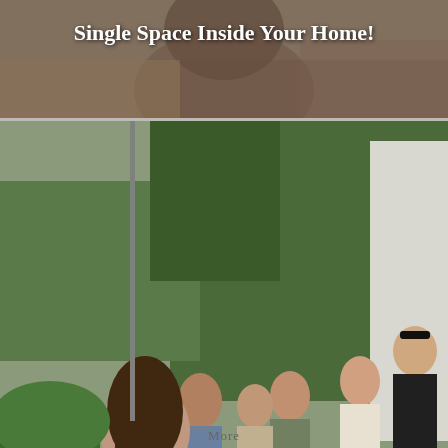Single Space Inside Your Home!
[Figure (photo): Outdoor photo of a woman in white using a power tool or device on a metal stand, with a large orange pumpkin visible. A crowd of onlookers stands in the background on a street with trees and buildings.]
The Coolest Halloween Pumpkins You Ever Saw...
More